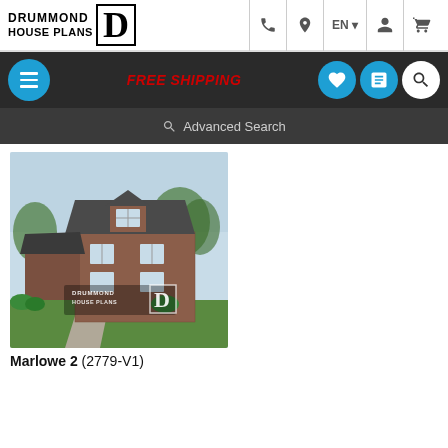DRUMMOND HOUSE PLANS – top navigation bar with logo, phone, location, EN, account, cart icons
[Figure (screenshot): Dark navigation bar with hamburger menu button, FREE SHIPPING text in red, heart icon, compare icon, and search icon]
Advanced Search
[Figure (photo): Exterior rendering of a two-story house with brown/red siding, attached garage, and Drummond House Plans watermark logo]
Marlowe 2 (2779-V1)